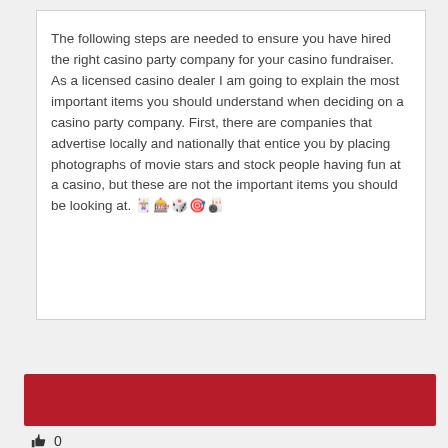The following steps are needed to ensure you have hired the right casino party company for your casino fundraiser. As a licensed casino dealer I am going to explain the most important items you should understand when deciding on a casino party company. First, there are companies that advertise locally and nationally that entice you by placing photographs of movie stars and stock people having fun at a casino, but these are not the important items you should be looking at. 🃏🎰🎲🎯🎳
[Figure (other): A solid dark red/crimson horizontal rectangle banner bar]
👍 0